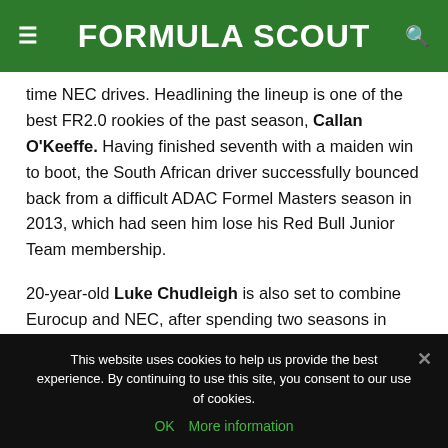FORMULA SCOUT
time NEC drives. Headlining the lineup is one of the best FR2.0 rookies of the past season, Callan O'Keeffe. Having finished seventh with a maiden win to boot, the South African driver successfully bounced back from a difficult ADAC Formel Masters season in 2013, which had seen him lose his Red Bull Junior Team membership.
20-year-old Luke Chudleigh is also set to combine Eurocup and NEC, after spending two seasons in Alps with Tech 1. The Canadian was only able to score ten points in his first season, but he showed improvement in his sophomore campaign, which he ended 12th in the standings.
This website uses cookies to help us provide the best experience. By continuing to use this site, you consent to our use of cookies.